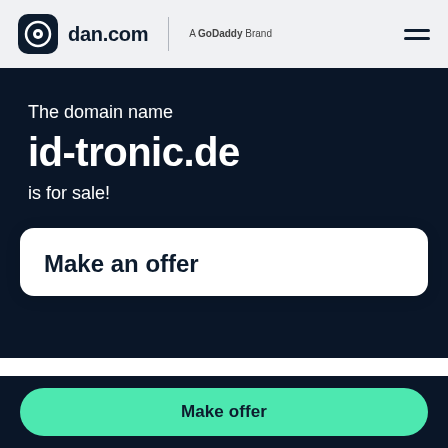[Figure (logo): dan.com logo with circular icon and text 'dan.com | A GoDaddy Brand']
The domain name id-tronic.de is for sale!
Make an offer
Make offer